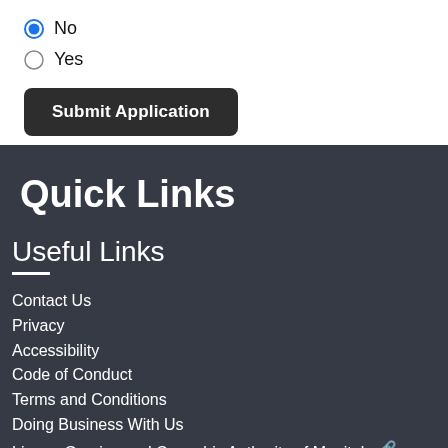No (selected)
Yes
Submit Application
Quick Links
Useful Links
Contact Us
Privacy
Accessibility
Code of Conduct
Terms and Conditions
Doing Business With Us
Liquor, Gaming and Cannabis Authority of Manitoba